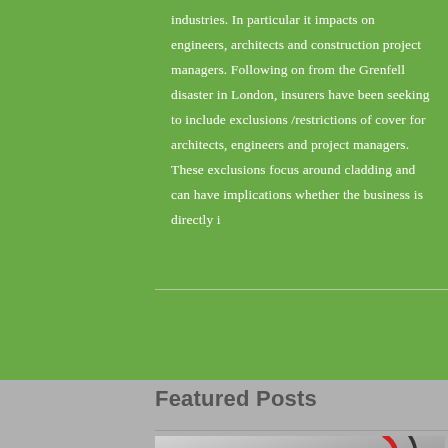industries. In particular it impacts on engineers, architects and construction project managers. Following on from the Grenfell disaster in London, insurers have been seeking to include exclusions /restrictions of cover for architects, engineers and project managers. These exclusions focus around cladding and can have implications whether the business is directly i
Featured Posts
[Figure (photo): Close-up photo of a document with a stethoscope or pen resting on it, with partial text visible reading 'ss' in italic serif font]